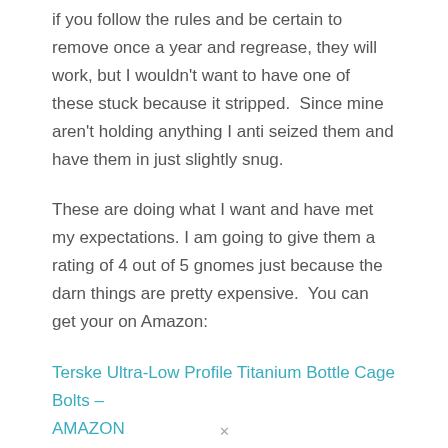if you follow the rules and be certain to remove once a year and regrease, they will work, but I wouldn't want to have one of these stuck because it stripped.  Since mine aren't holding anything I anti seized them and have them in just slightly snug.
These are doing what I want and have met my expectations. I am going to give them a rating of 4 out of 5 gnomes just because the darn things are pretty expensive.  You can get your on Amazon:
Terske Ultra-Low Profile Titanium Bottle Cage Bolts – AMAZON
✕